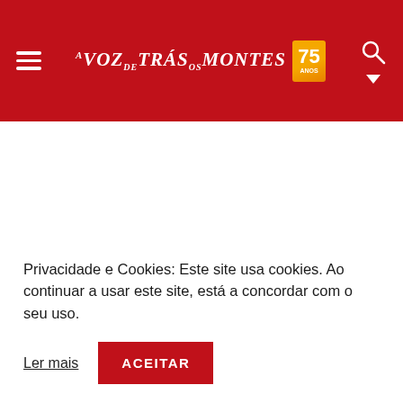A VOZ DE TRÁS-OS-MONTES 75
MURÇA
Privacidade e Cookies: Este site usa cookies. Ao continuar a usar este site, está a concordar com o seu uso.
Ler mais   ACEITAR